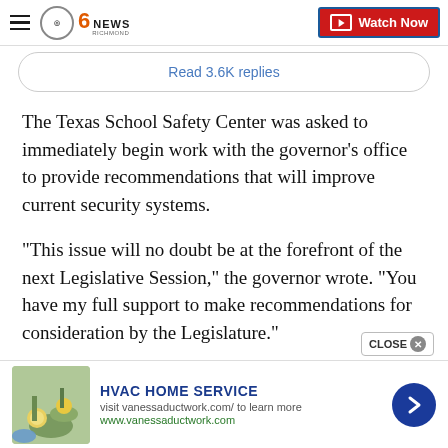CBS 6 News Richmond — Watch Now
Read 3.6K replies
The Texas School Safety Center was asked to immediately begin work with the governor's office to provide recommendations that will improve current security systems.
“This issue will no doubt be at the forefront of the next Legislative Session,” the governor wrote. “You have my full support to make recommendations for consideration by the Legislature.”
HVAC HOME SERVICE
visit vanessaductwork.com/ to learn more
www.vanessaductwork.com